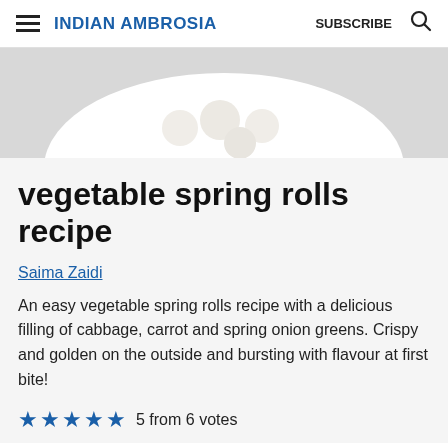INDIAN AMBROSIA | SUBSCRIBE
[Figure (photo): Partial view of a white plate with food items, cropped at the top of the content area]
vegetable spring rolls recipe
Saima Zaidi
An easy vegetable spring rolls recipe with a delicious filling of cabbage, carrot and spring onion greens. Crispy and golden on the outside and bursting with flavour at first bite!
5 from 6 votes